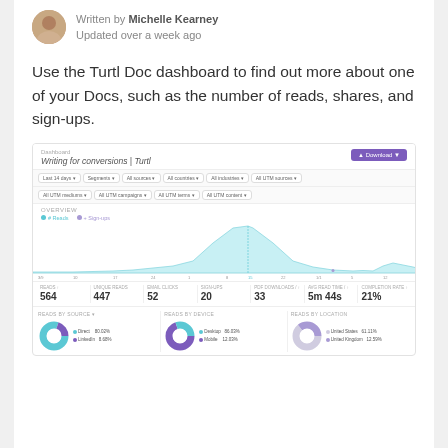Written by Michelle Kearney
Updated over a week ago
Use the Turtl Doc dashboard to find out more about one of your Docs, such as the number of reads, shares, and sign-ups.
[Figure (screenshot): Screenshot of the Turtl Doc dashboard showing 'Writing for conversions | Turtl' with filter dropdowns, an area/line chart showing reads and sign-ups over time with a prominent peak, summary stats (Reads: 564, Unique Reads: 447, Email Clicks: 52, Sign-ups: 20, PDF Downloads: 33, Avg Read Time: 5m 44s, Completion Rate: 21%), and three donut charts for Reads by Source, Reads by Device, and Reads by Location.]